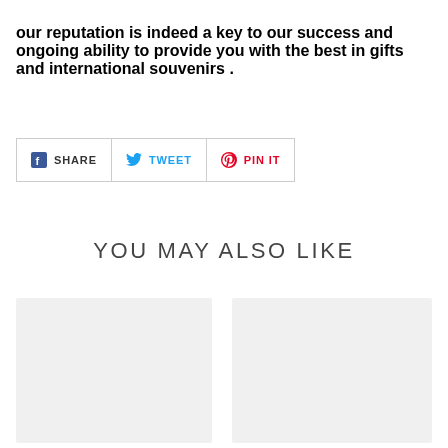our reputation is indeed a key to our success and ongoing ability to provide you with the best in gifts and international souvenirs .
[Figure (other): Social share buttons: Facebook SHARE, Twitter TWEET, Pinterest PIN IT]
YOU MAY ALSO LIKE
[Figure (other): Product card placeholder image (left)]
[Figure (other): Product card placeholder image (right)]